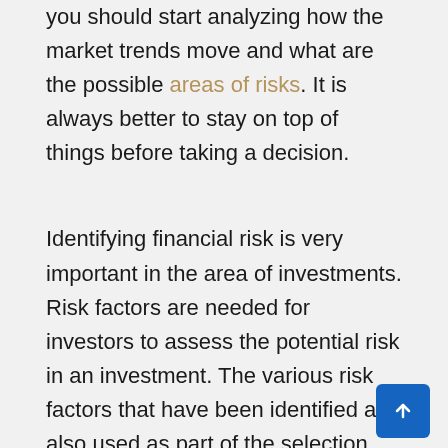you should start analyzing how the market trends move and what are the possible areas of risks. It is always better to stay on top of things before taking a decision.
Identifying financial risk is very important in the area of investments. Risk factors are needed for investors to assess the potential risk in an investment. The various risk factors that have been identified are also used as part of the selection criteria in certain kinds of business loans, commercial leases, mortgages, etc. Identifying these risk factors is very useful especially when you are about to make an investment decision. It will keep you updated with the current trends in the financial markets.